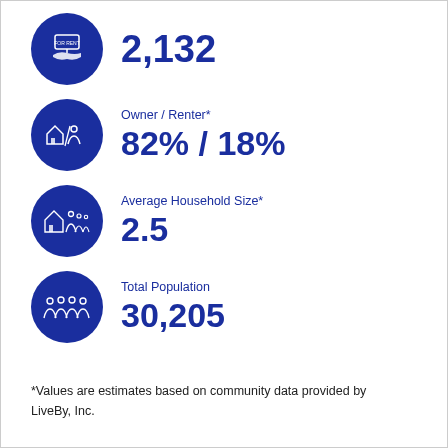[Figure (infographic): Blue circle icon with 'For Rent' sign graphic]
2,132
[Figure (infographic): Blue circle icon with house/building and person graphic for Owner/Renter]
Owner / Renter*
82% / 18%
[Figure (infographic): Blue circle icon with house and family figures for Average Household Size]
Average Household Size*
2.5
[Figure (infographic): Blue circle icon with group of people for Total Population]
Total Population
30,205
*Values are estimates based on community data provided by LiveBy, Inc.